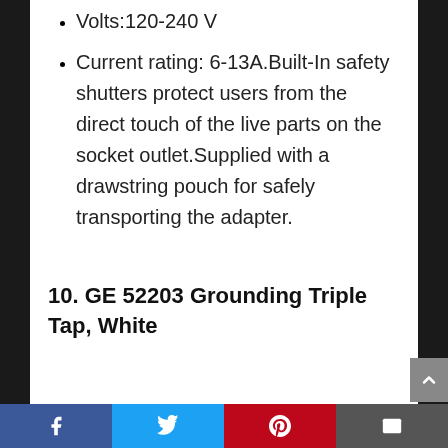Volts:120-240 V
Current rating: 6-13A.Built-In safety shutters protect users from the direct touch of the live parts on the socket outlet.Supplied with a drawstring pouch for safely transporting the adapter.
10. GE 52203 Grounding Triple Tap, White